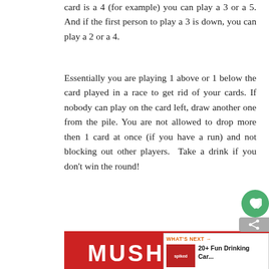card is a 4 (for example) you can play a 3 or a 5. And if the first person to play a 3 is down, you can play a 2 or a 4.
Essentially you are playing 1 above or 1 below the card played in a race to get rid of your cards. If nobody can play on the card left, draw another one from the pile. You are not allowed to drop more then 1 card at once (if you have a run) and not blocking out other players.  Take a drink if you don't win the round!
[Figure (illustration): Red banner with white text reading MUSHROOM and a mushroom icon with a can illustration below it. Partially visible at bottom of page.]
[Figure (screenshot): WHAT'S NEXT panel with orange text and thumbnail image linking to '20+ Fun Drinking Car...']